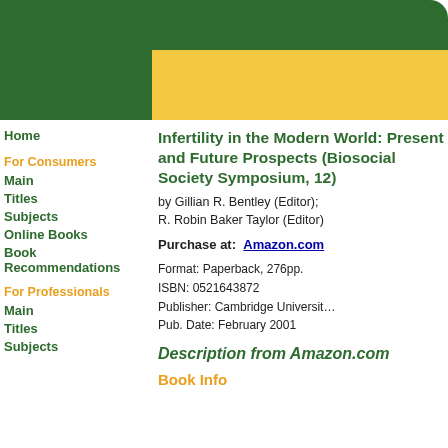[Figure (illustration): Website header graphic with dark green background on left and top, and a golden/yellow rectangular panel on the right side]
Home
For Consumers
Main
Titles
Subjects
Online Books
Book Recommendations
For Professionals
Main
Titles
Subjects
Infertility in the Modern World: Present and Future Prospects (Biosocial Society Symposium, 12)
by Gillian R. Bentley (Editor); R. Robin Baker Taylor (Editor)
Purchase at:  Amazon.com
Format: Paperback, 276pp.
ISBN: 0521643872
Publisher: Cambridge University
Pub. Date: February 2001
Description from Amazon.com
Book Info